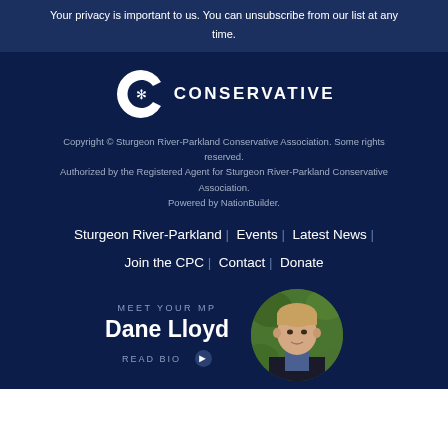Your privacy is important to us. You can unsubscribe from our list at any time.
[Figure (logo): Conservative Party of Canada logo - stylized C with maple leaf and CONSERVATIVE text]
Copyright © Sturgeon River-Parkland Conservative Association. Some rights reserved. Authorized by the Registered Agent for Sturgeon River-Parkland Conservative Association. Powered by NationBuilder.
Sturgeon River-Parkland | Events | Latest News | Join the CPC | Contact | Donate
MEET YOUR MP
Dane Lloyd
READ BIO
[Figure (photo): Circular headshot photo of Dane Lloyd, a young man with short hair wearing a dark jacket, outdoors with green foliage background]